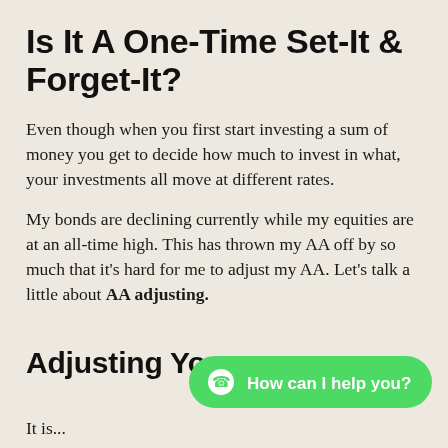Is It A One-Time Set-It & Forget-It?
Even though when you first start investing a sum of money you get to decide how much to invest in what, your investments all move at different rates.
My bonds are declining currently while my equities are at an all-time high. This has thrown my AA off by so much that it’s hard for me to adjust my AA. Let’s talk a little about AA adjusting.
Adjusting You
It is...
[Figure (other): WhatsApp chat button: green pill-shaped button with WhatsApp icon and text 'How can I help you?']